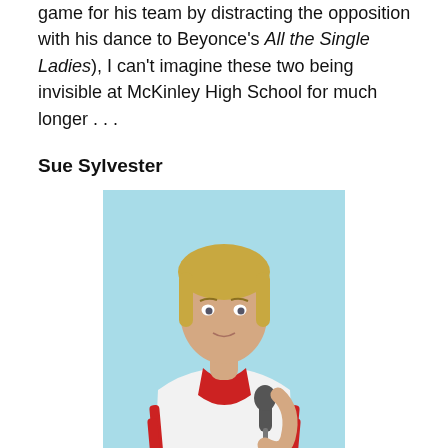game for his team by distracting the opposition with his dance to Beyonce's All the Single Ladies), I can't imagine these two being invisible at McKinley High School for much longer . . .
Sue Sylvester
[Figure (photo): Woman in white and red tracksuit holding a microphone, standing against a light blue background, short blonde hair]
Goal: To redeem herself, after having become the school laughingstock
What she did: Made a music video with Olivia Newton John featuring sexy shirtless men!